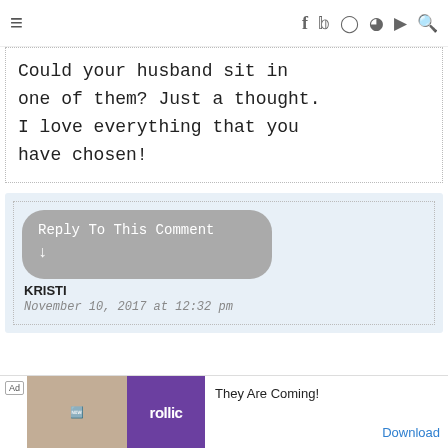≡  f  twitter  instagram  pinterest  youtube  search
Could your husband sit in one of them? Just a thought. I love everything that you have chosen!
[Figure (screenshot): Reply To This Comment button (grey rounded rectangle) with arrow, followed by commenter name KRISTI and date November 10, 2017 at 12:32 pm]
[Figure (infographic): Ad banner: Rollic game ad with text They Are Coming! and Download button]